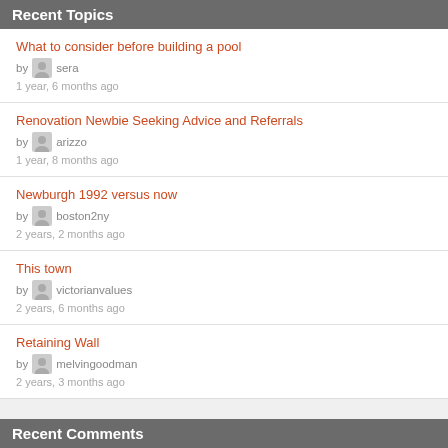Recent Topics
What to consider before building a pool
by sera
1 year, 6 months ago
Renovation Newbie Seeking Advice and Referrals
by arizzo
1 year, 8 months ago
Newburgh 1992 versus now
by boston2ny
2 years, 2 months ago
This town
by victorianvalues
2 years, 6 months ago
Retaining Wall
by melvingoodman
2 years, 3 months ago
Recent Comments